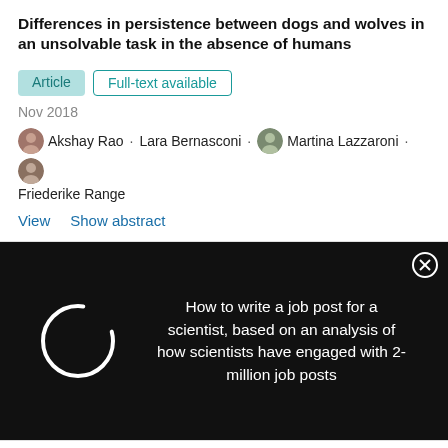Differences in persistence between dogs and wolves in an unsolvable task in the absence of humans
Article · Full-text available
Nov 2018
Akshay Rao · Lara Bernasconi · Martina Lazzaroni · Friederike Range
View   Show abstract
[Figure (screenshot): Black overlay popup with a spinner/loading circle on the left and text: 'How to write a job post for a scientist, based on an analysis of how scientists have engaged with 2-million job posts', with a close (X) button in the top right corner.]
[Figure (photo): Small thumbnail of a document/article image for Promega ad]
Promega
Quality Systems Working for You